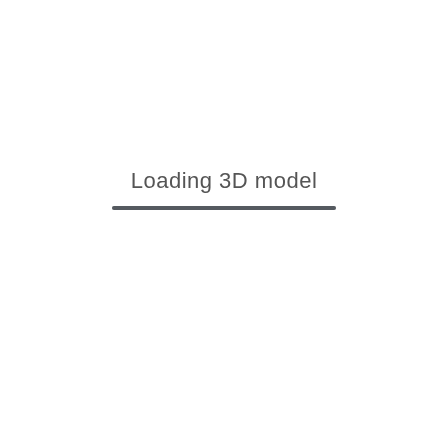Loading 3D model
[Figure (other): A horizontal progress bar (dark gray fill, full width) indicating loading progress for a 3D model.]